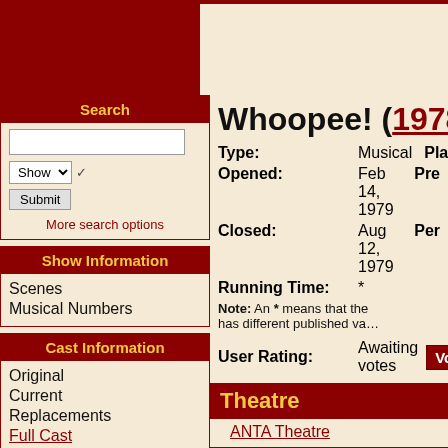[Figure (other): Dark red top banner split into left dark red block and right cream section]
Search
Show Submit More search options
Show Information
Scenes
Musical Numbers
Cast Information
Original
Current
Replacements
Full Cast
Whoopee! (1978-1...
Type: Musical   Pla...
Opened: Feb 14, 1979  Pre...
Closed: Aug 12, 1979  Per...
Running Time: *
Note: An * means that the... has different published va...
User Rating: Awaiting votes Vote
Theatre
ANTA Theatre
Artistic/Production Staf...